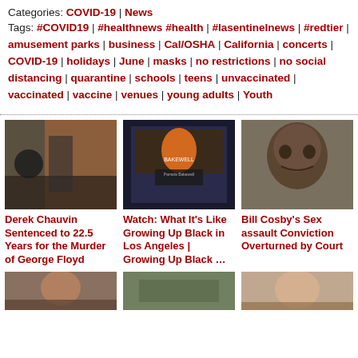Categories: COVID-19 | News
Tags: #COVID19 | #healthnews #health | #lasentinelnews | #redtier | amusement parks | business | Cal/OSHA | California | concerts | COVID-19 | holidays | June | masks | no restrictions | no social distancing | quarantine | schools | teens | unvaccinated | vaccinated | vaccine | venues | young adults | Youth
[Figure (photo): Courtroom scene showing Derek Chauvin being led away by officers]
Derek Chauvin Sentenced to 22.5 Years for the Murder of George Floyd
[Figure (screenshot): Video screenshot of Pamela Bakewell seated in front of a Bakewell Company backdrop]
Watch: What It's Like Growing Up Black in Los Angeles | Growing Up Black …
[Figure (photo): Close-up photo of Bill Cosby's face]
Bill Cosby's Sex assault Conviction Overturned by Court
[Figure (photo): Bottom strip image 1]
[Figure (photo): Bottom strip image 2]
[Figure (photo): Bottom strip image 3]